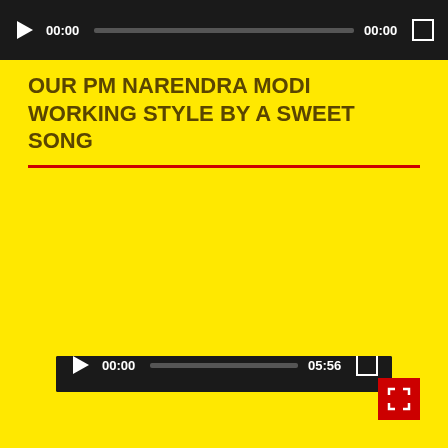[Figure (screenshot): Top video player bar with play button, time 00:00, progress bar, time 00:00, and fullscreen icon on dark background]
OUR PM NARENDRA MODI WORKING STYLE BY A SWEET SONG
[Figure (screenshot): Embedded YouTube video showing Narendra Modi speaking at a podium with microphones, with YouTube top bar showing channel avatar and Hindi title text, large play button overlay in center, and video controls at bottom showing 00:00 / 05:56]